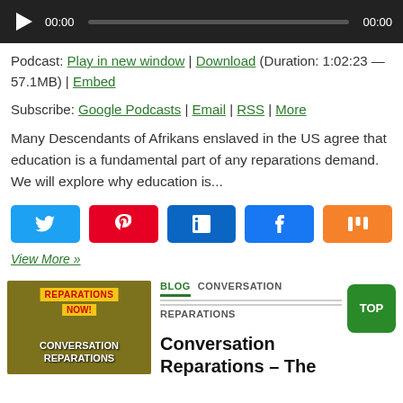[Figure (screenshot): Audio player with dark background, play button, time display 00:00, progress bar, and end time 00:00]
Podcast: Play in new window | Download (Duration: 1:02:23 — 57.1MB) | Embed
Subscribe: Google Podcasts | Email | RSS | More
Many Descendants of Afrikans enslaved in the US agree that education is a fundamental part of any reparations demand. We will explore why education is...
[Figure (infographic): Social share buttons: Twitter (blue), Pinterest (red), LinkedIn (dark blue), Facebook (blue), Mix (orange)]
View More »
[Figure (photo): Thumbnail image with text overlays: CONVERSATION REPARATIONS, showing protest signs including REPARATIONS NOW!]
BLOG CONVERSATION REPARATIONS
Conversation Reparations – The